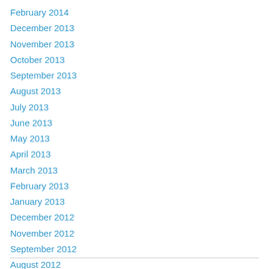February 2014
December 2013
November 2013
October 2013
September 2013
August 2013
July 2013
June 2013
May 2013
April 2013
March 2013
February 2013
January 2013
December 2012
November 2012
September 2012
August 2012
June 2012